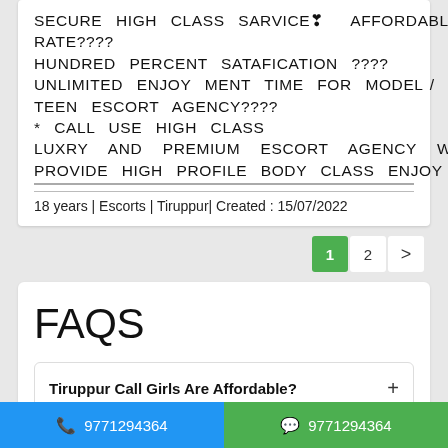SECURE HIGH CLASS SARVICE❣ AFFORDABLE RATE????HUNDRED PERCENT SATAFICATION ???? UNLIMITED ENJOY MENT TIME FOR MODEL / TEEN ESCORT AGENCY????* CALL USE HIGH CLASS LUXRY AND PREMIUM ESCORT AGENCY WE PROVIDE HIGH PROFILE BODY CLASS ENJOY
18 years | Escorts | Tiruppur| Created : 15/07/2022
1  2  >
FAQS
Tiruppur Call Girls Are Affordable? +
How Can I Book Tiruppur Escorts Services? +
Can I Book Call Girl Tiruppur For OutCall Services? +
Whe... +
📞 9771294364
💬 9771294364